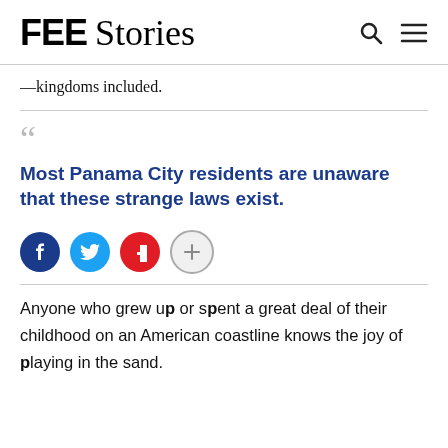FEE Stories
—kingdoms included.
Most Panama City residents are unaware that these strange laws exist.
[Figure (other): Social sharing buttons: Facebook, Twitter, Flipboard, and a more options button]
Anyone who grew up or spent a great deal of their childhood on an American coastline knows the joy of playing in the sand.